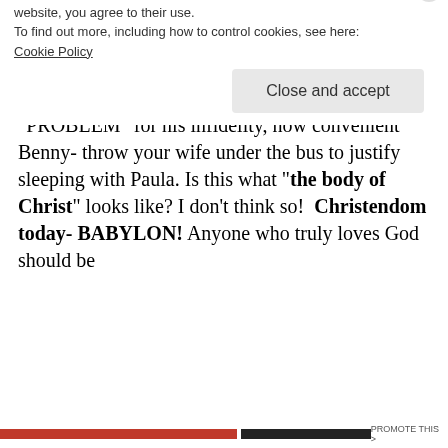is she evangelizing!!!! And Benny Hinn's old nasty self has probably been lusting after her even before he divorced his wife but blames his wife because of a PRESCRIPTION DRUG "PROBLEM" for his infidelity, how convenient Benny- throw your wife under the bus to justify sleeping with Paula. Is this what "the body of Christ" looks like? I don't think so! Christendom today- BABYLON! Anyone who truly loves God should be
Privacy & Cookies: This site uses cookies. By continuing to use this website, you agree to their use.
To find out more, including how to control cookies, see here:
Cookie Policy
Close and accept